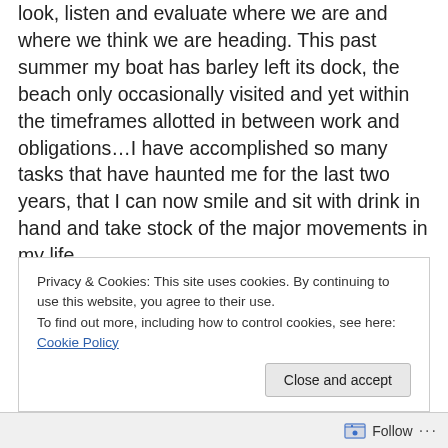look, listen and evaluate where we are and where we think we are heading. This past summer my boat has barley left its dock, the beach only occasionally visited and yet within the timeframes allotted in between work and obligations…I have accomplished so many tasks that have haunted me for the last two years, that I can now smile and sit with drink in hand and take stock of the major movements in my life.

Yesterday in between the quiet, I heard the dogs bark and so I chanced to leave my academics for a moment and take in a  deep breath or two looking out over the dock
Privacy & Cookies: This site uses cookies. By continuing to use this website, you agree to their use.
To find out more, including how to control cookies, see here: Cookie Policy
Close and accept
Follow ···